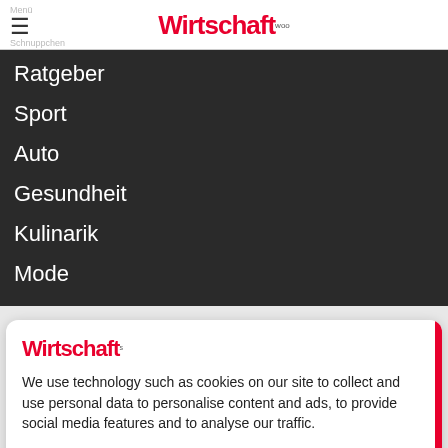Wirtschaft
Ratgeber
Sport
Auto
Gesundheit
Kulinarik
Mode
Wirtschaft
We use technology such as cookies on our site to collect and use personal data to personalise content and ads, to provide social media features and to analyse our traffic.
Do Not Sell My Data
Zustimmen und fortfahren
Powered by UniConsent